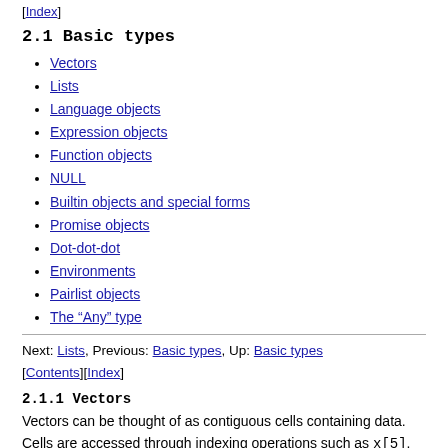[Index]
2.1 Basic types
Vectors
Lists
Language objects
Expression objects
Function objects
NULL
Builtin objects and special forms
Promise objects
Dot-dot-dot
Environments
Pairlist objects
The “Any” type
Next: Lists, Previous: Basic types, Up: Basic types [Contents][Index]
2.1.1 Vectors
Vectors can be thought of as contiguous cells containing data. Cells are accessed through indexing operations such as x[5]. More details are given in Indexing.